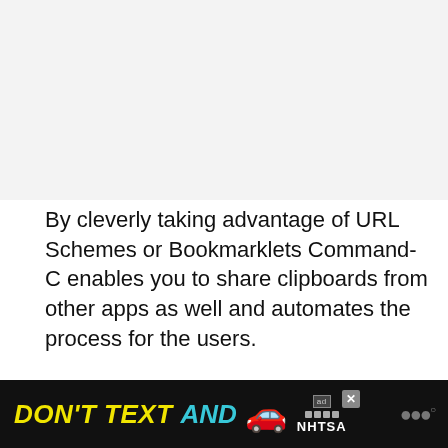[Figure (other): Gray background area at top of page (image/content placeholder)]
By cleverly taking advantage of URL Schemes or Bookmarklets Command-C enables you to share clipboards from other apps as well and automates the process for the users.
To see this app in action and get a better understanding of how it works, watch the video embedded below.
[Figure (other): Advertisement banner at the bottom: black background with yellow text DON'T TEXT, cyan text AND, red car emoji, ad badge, NHTSA logo, close button, and WW logo]